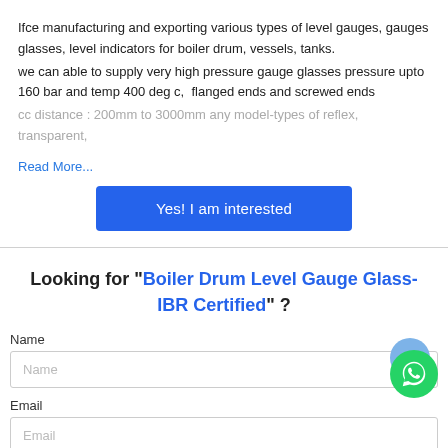Ifce manufacturing and exporting various types of level gauges, gauges glasses, level indicators for boiler drum, vessels, tanks.
we can able to supply very high pressure gauge glasses pressure upto 160 bar and temp 400 deg c,  flanged ends and screwed ends
cc distance : 200mm to 3000mm any model-types of reflex, transparent,
Read More...
[Figure (other): Blue button with text 'Yes! I am interested']
Looking for "Boiler Drum Level Gauge Glass-IBR Certified" ?
Name
Email